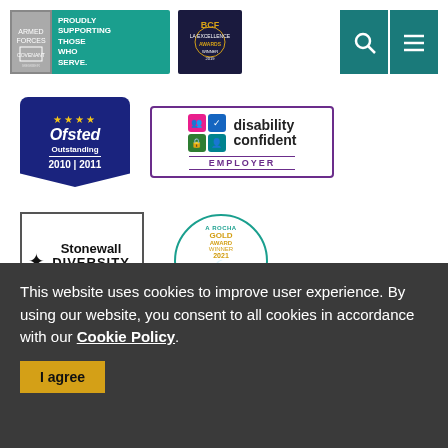[Figure (logo): Armed Forces Covenant badge - teal background with text PROUDLY SUPPORTING THOSE WHO SERVE.]
[Figure (logo): BCF Excellence Awards Winner 2019 badge on dark navy background]
[Figure (logo): Search and menu icon buttons in teal]
[Figure (logo): Ofsted Outstanding 2010-2011 badge in dark blue]
[Figure (logo): Disability Confident Employer badge with purple border]
[Figure (logo): Stonewall Diversity Champion badge with star and banner shape]
[Figure (logo): A Rocha Gold Award Winner 2021 Eco Church circular badge]
This website uses cookies to improve user experience. By using our website, you consent to all cookies in accordance with our Cookie Policy.
I agree